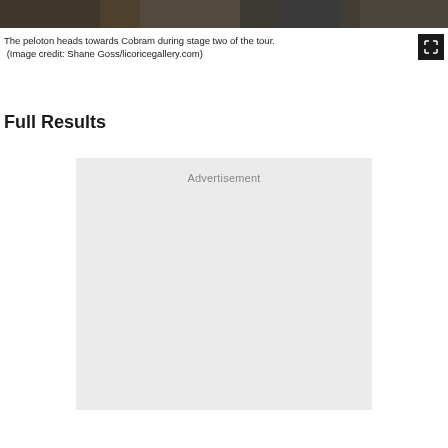[Figure (photo): Top strip showing peloton cyclists heading towards Cobram during stage two of the tour.]
The peloton heads towards Cobram during stage two of the tour. (Image credit: Shane Goss/licoricegallery.com)
Full Results
Advertisement